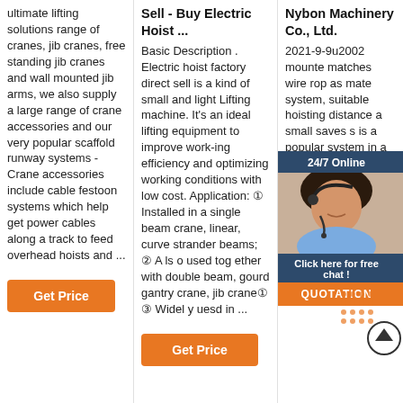ultimate lifting solutions range of cranes, jib cranes, free standing jib cranes and wall mounted jib arms, we also supply a large range of crane accessories and our very popular scaffold runway systems - Crane accessories include cable festoon systems which help get power cables along a track to feed overhead hoists and ...
Get Price
Sell - Buy Electric Hoist ...
Basic Description . Electric hoist factory direct sell is a kind of small and light Lifting machine. It's an ideal lifting equipment to improve work-ing efficiency and optimizing working conditions with low cost. Application: ① Installed in a single beam crane, linear, curve strander beams; ② A ls o used tog ether with double beam, gourd gantry crane, jib crane① ③ Widel y uesd in ...
Get Price
Nybon Machinery Co., Ltd.
2021-9-9u2002 mounte matches wire rop as mate system, suitable hoisting distance a small saves s is a popular system in a cramped environment. Features: 1. Light weight. 2. manual/electri slewing rotatio optional.
[Figure (infographic): 24/7 Online chat widget with a woman wearing headset and a blue/dark background header, with 'Click here for free chat!' text and an orange QUOTATION button]